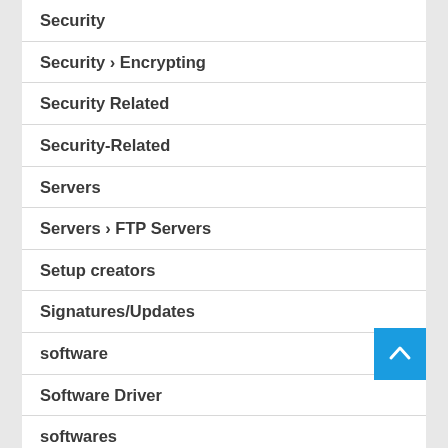Security
Security › Encrypting
Security Related
Security-Related
Servers
Servers › FTP Servers
Setup creators
Signatures/Updates
software
Software Driver
softwares
Spotify 1.0.89.313 Crack With Serial Key